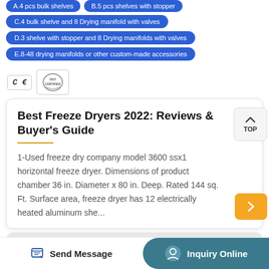A.4 pcs bulk shelves
B.5 pcs shelves with stopper
C.4 bulk shelve and 8 Drying manifold with valves
D.3 shelve with stopper and 8 Drying manifolds with valves
E.8-48 drying manifolds or other custom-made accessories
[Figure (logo): CE and ISO certification logos]
Best Freeze Dryers 2022: Reviews & Buyer's Guide
1-Used freeze dry company model 3600 ssx1 horizontal freeze dryer. Dimensions of product chamber 36 in. Diameter x 80 in. Deep. Rated 144 sq. Ft. Surface area, freeze dryer has 12 electrically heated aluminum she...
[Figure (other): Gray textured bottom section background]
Send Message
Inquiry Online